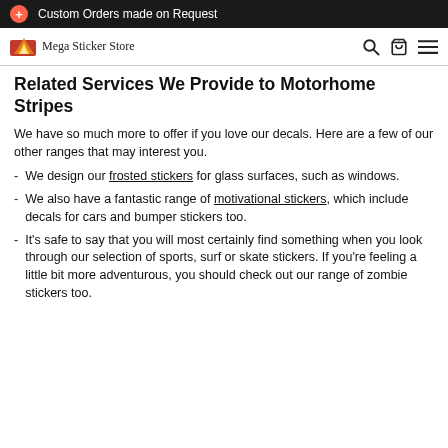Custom Orders made on Request
[Figure (logo): Mega Sticker Store logo with colorful flame/sticker graphic and cursive text]
Related Services We Provide to Motorhome Stripes
We have so much more to offer if you love our decals. Here are a few of our other ranges that may interest you.
We design our frosted stickers for glass surfaces, such as windows.
We also have a fantastic range of motivational stickers, which include decals for cars and bumper stickers too.
It's safe to say that you will most certainly find something when you look through our selection of sports, surf or skate stickers. If you're feeling a little bit more adventurous, you should check out our range of zombie stickers too.